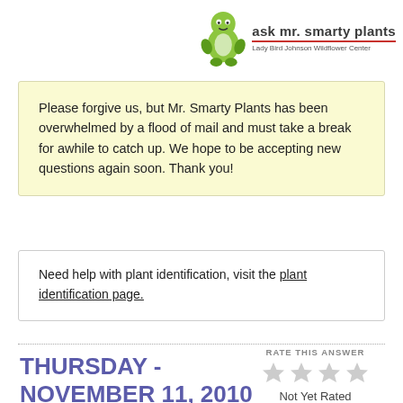[Figure (logo): Ask Mr. Smarty Plants logo with green mascot character and text 'ask mr. smarty plants' and subtitle 'Lady Bird Johnson Wildflower Center']
Please forgive us, but Mr. Smarty Plants has been overwhelmed by a flood of mail and must take a break for awhile to catch up. We hope to be accepting new questions again soon. Thank you!
Need help with plant identification, visit the plant identification page.
RATE THIS ANSWER
Not Yet Rated
THURSDAY - NOVEMBER 11, 2010